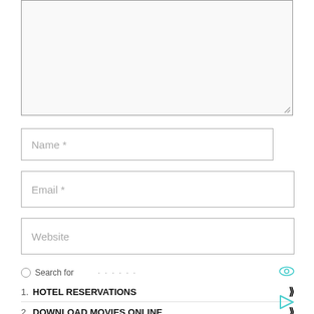[Figure (screenshot): Empty textarea input box with light gray background and border, with resize handle at bottom right corner]
Name *
Email *
Website
Search for ... (ad unit with eye icon, hotel reservations and download movies online links)
1. HOTEL RESERVATIONS
2. DOWNLOAD MOVIES ONLINE